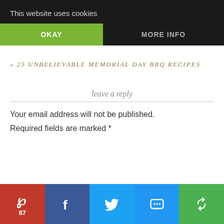This website uses cookies
OKAY
MORE INFO
« 25 UNBELIEVABLE MEMORIAL DAY BBQ RECIPES
leave a reply
Your email address will not be published.
Required fields are marked *
[Figure (infographic): Social sharing bar with Pinterest (87), Facebook, Twitter, SMS, and a fifth share button]